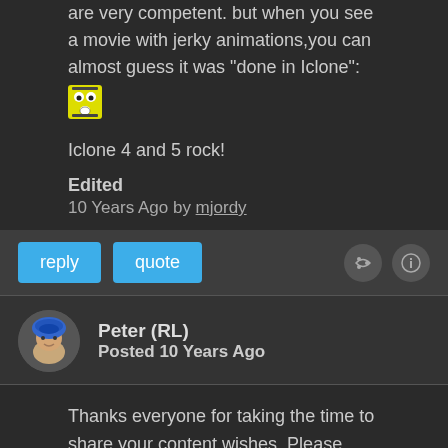are very competent. but when you see a movie with jerky animations,you can almost guess it was "done in Iclone":
[Figure (illustration): Shocked/surprised emoji face icon]
Iclone 4 and 5 rock!
Edited
10 Years Ago by mjordy
reply   quote
[Figure (illustration): Avatar portrait of Peter (RL) - cartoon character with blue hat]
Peter (RL)
Posted 10 Years Ago
Thanks everyone for taking the time to share your content wishes. Please keep them coming. 🙂
Peter